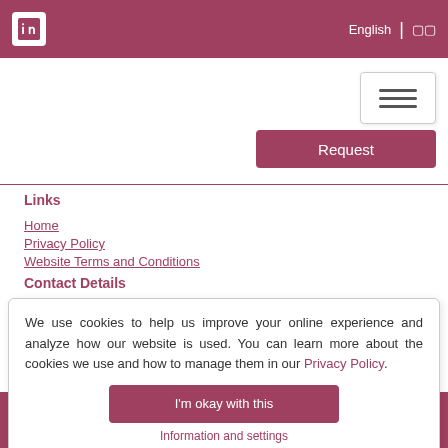LinkedIn icon | English | [icon]
[Figure (screenshot): Navigation hamburger button and Request button]
Links
Home
Privacy Policy
Website Terms and Conditions
Contact Details
Tel: +44 (0)1473 226106
d Wales with company number 7184462
1UQ. United Kingdom.
ved.
corded for security and training purposes.
We use cookies to help us improve your online experience and analyze how our website is used. You can learn more about the cookies we use and how to manage them in our Privacy Policy.
I'm okay with this
Information and settings
[logos]